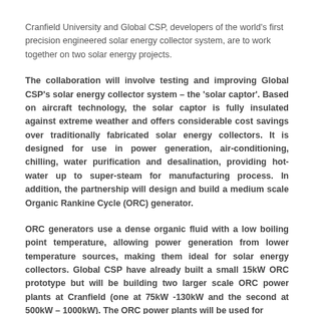Cranfield University and Global CSP, developers of the world's first precision engineered solar energy collector system, are to work together on two solar energy projects.
The collaboration will involve testing and improving Global CSP's solar energy collector system – the 'solar captor'. Based on aircraft technology, the solar captor is fully insulated against extreme weather and offers considerable cost savings over traditionally fabricated solar energy collectors. It is designed for use in power generation, air-conditioning, chilling, water purification and desalination, providing hot-water up to super-steam for manufacturing process. In addition, the partnership will design and build a medium scale Organic Rankine Cycle (ORC) generator.
ORC generators use a dense organic fluid with a low boiling point temperature, allowing power generation from lower temperature sources, making them ideal for solar energy collectors. Global CSP have already built a small 15kW ORC prototype but will be building two larger scale ORC power plants at Cranfield (one at 75kW -130kW and the second at 500kW – 1000kW). The ORC power plants will be used for...